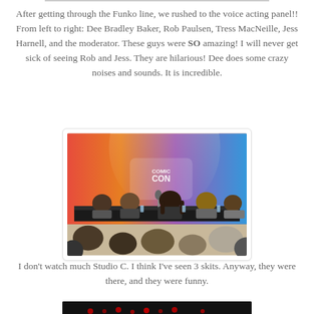After getting through the Funko line, we rushed to the voice acting panel!! From left to right: Dee Bradley Baker, Rob Paulsen, Tress MacNeille, Jess Harnell, and the moderator. These guys were SO amazing! I will never get sick of seeing Rob and Jess. They are hilarious! Dee does some crazy noises and sounds. It is incredible.
[Figure (photo): Panel of voice actors seated at a table in front of a colorful Comic Con backdrop. Several panelists visible including people with microphones. Audience visible in foreground.]
I don't watch much Studio C. I think I've seen 3 skits. Anyway, they were there, and they were funny.
[Figure (photo): Partial view of a dark stage with red lights visible at the bottom.]